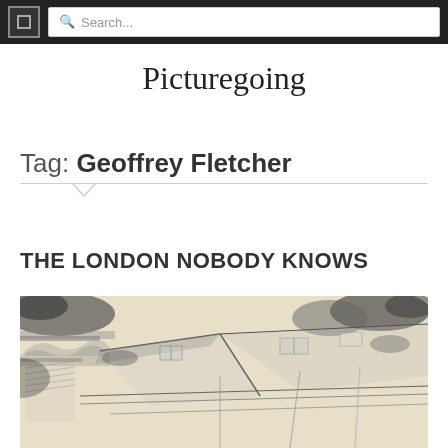Search...
Picturegoing
Tag: Geoffrey Fletcher
THE LONDON NOBODY KNOWS
[Figure (illustration): Pencil/charcoal sketch of London architectural details — classical cornice and entablature on the left, pitched rooftops and skylights stretching across the composition, rendered in loose hatching on cream paper.]